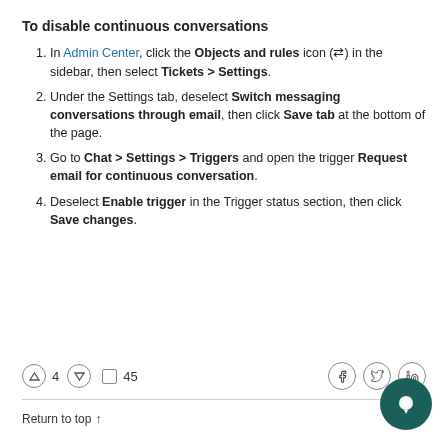To disable continuous conversations
In Admin Center, click the Objects and rules icon (⇄) in the sidebar, then select Tickets > Settings.
Under the Settings tab, deselect Switch messaging conversations through email, then click Save tab at the bottom of the page.
Go to Chat > Settings > Triggers and open the trigger Request email for continuous conversation.
Deselect Enable trigger in the Trigger status section, then click Save changes.
↑ 4  ↓  □ 45    [Facebook] [Twitter] [LinkedIn]
Return to top ↑